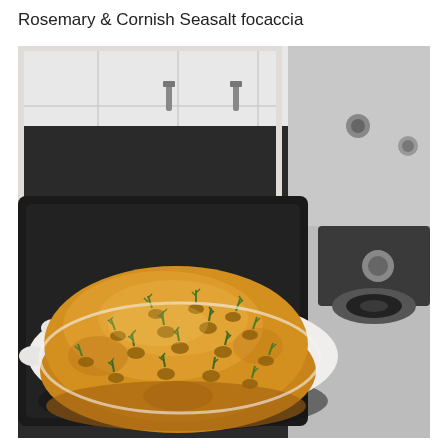Rosemary & Cornish Seasalt focaccia
[Figure (photo): A golden-brown round focaccia bread baked in a white fluted ceramic dish, placed inside a black baking tray on a gas stovetop. The focaccia has numerous dimples with sprigs of rosemary pressed into them. The background shows a white tiled kitchen surface and part of the gas burner and controls.]